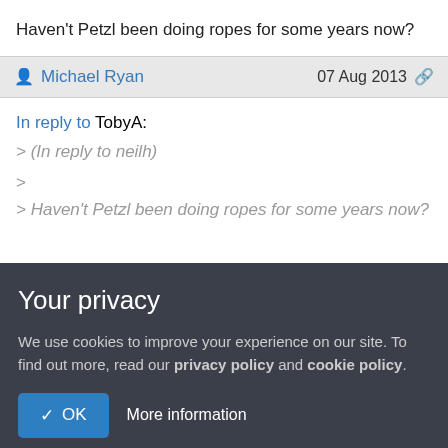Haven't Petzl been doing ropes for some years now?
Michael Ryan  07 Aug 2013
In reply to TobyA:
> (In reply to neilh)
>
> Haven't Petzl been doing ropes for some years now?
Your privacy
We use cookies to improve your experience on our site. To find out more, read our privacy policy and cookie policy.
OK  More information